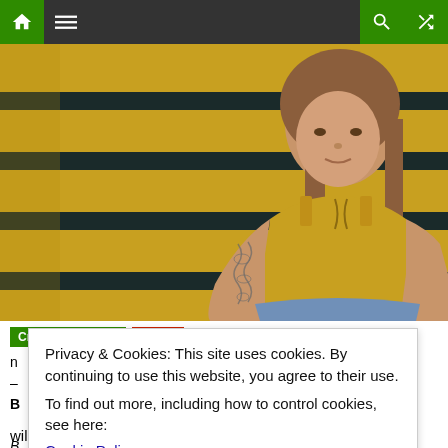[Figure (screenshot): Website navigation bar with home icon (green), hamburger menu, search icon (green), and shuffle icon (green) on dark background]
[Figure (photo): Young woman with tattoos on her arm wearing a yellow tank top, leaning against a yellow school bus]
Crime And Safety   Health
Privacy & Cookies: This site uses cookies. By continuing to use this website, you agree to their use.
To find out more, including how to control cookies, see here:
Cookie Policy
Close and accept
will vote on Ballot #5, to remove from the city charter all